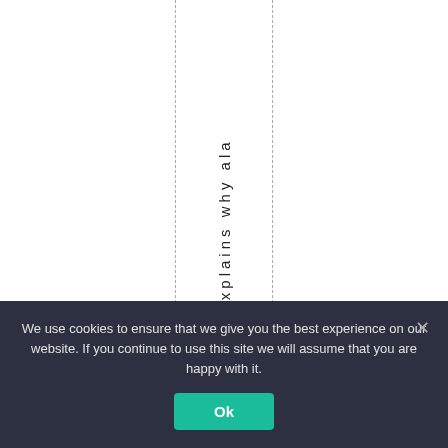this explains why ala
We use cookies to ensure that we give you the best experience on our website. If you continue to use this site we will assume that you are happy with it.
Ok